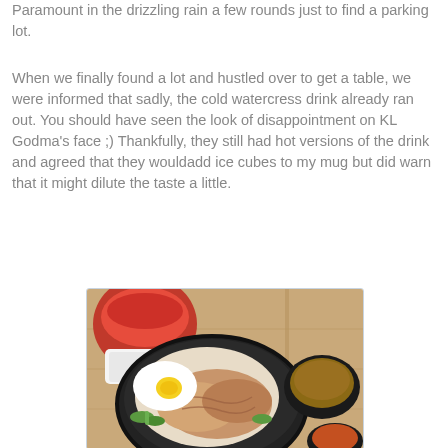Paramount in the drizzling rain a few rounds just to find a parking lot.
When we finally found a lot and hustled over to get a table, we were informed that sadly, the cold watercress drink already ran out. You should have seen the look of disappointment on KL Godma's face ;) Thankfully, they still had hot versions of the drink and agreed that they wouldadd ice cubes to my mug but did warn that it might dilute the taste a little.
[Figure (photo): Overhead photo of a black bowl containing rice with chicken, a fried egg, and green vegetables (bok choy), accompanied by small bowls of sauce on a wooden surface. A red cup is visible in the upper left.]